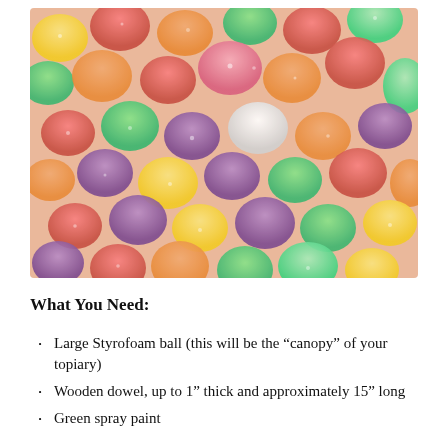[Figure (photo): Overhead close-up photo of colorful sugar-coated gummy candies (spice drops / gumdrop style) in red, green, yellow, orange, purple, and white, covered in granulated sugar.]
What You Need:
Large Styrofoam ball (this will be the “canopy” of your topiary)
Wooden dowel, up to 1” thick and approximately 15” long
Green spray paint